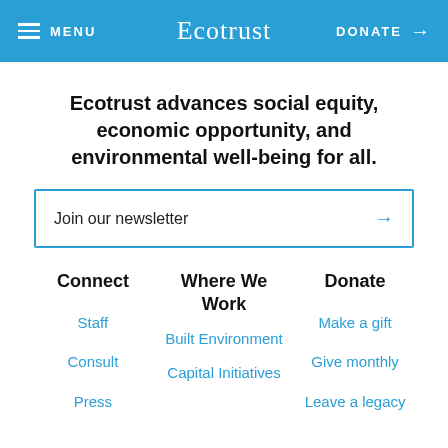≡ MENU   Ecotrust   DONATE →
Ecotrust advances social equity, economic opportunity, and environmental well-being for all.
Join our newsletter →
Connect
Where We Work
Donate
Staff
Built Environment
Make a gift
Consult
Give monthly
Press
Capital Initiatives
Leave a legacy